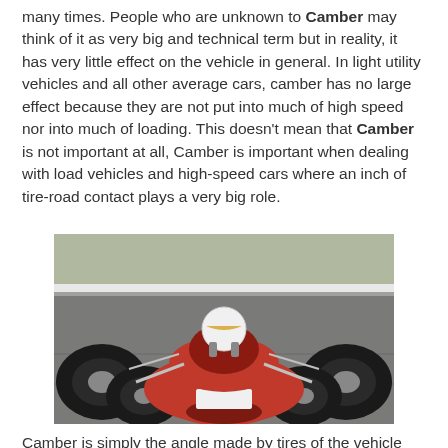many times. People who are unknown to Camber may think of it as very big and technical term but in reality, it has very little effect on the vehicle in general. In light utility vehicles and all other average cars, camber has no large effect because they are not put into much of high speed nor into much of loading. This doesn't mean that Camber is not important at all, Camber is important when dealing with load vehicles and high-speed cars where an inch of tire-road contact plays a very big role.
[Figure (photo): A vintage open-wheel red formula racing car on a track, viewed from the front, driver wearing white helmet, wheels splayed outward showing camber.]
Camber is simply the angle made by tires of the vehicle